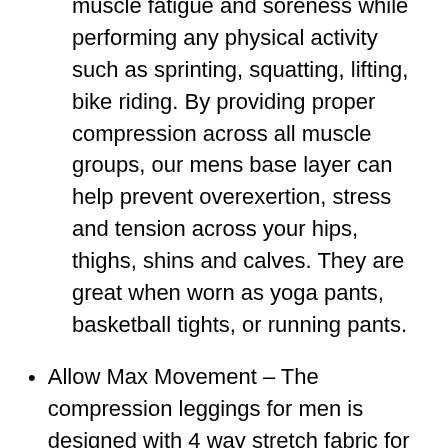muscle fatigue and soreness while performing any physical activity such as sprinting, squatting, lifting, bike riding. By providing proper compression across all muscle groups, our mens base layer can help prevent overexertion, stress and tension across your hips, thighs, shins and calves. They are great when worn as yoga pants, basketball tights, or running pants.
Allow Max Movement – The compression leggings for men is designed with 4 way stretch fabric for your freedom of activities, really slim and light without bound feeling, allowing you to bend, stretch, jump and run freely. Great workout tights for